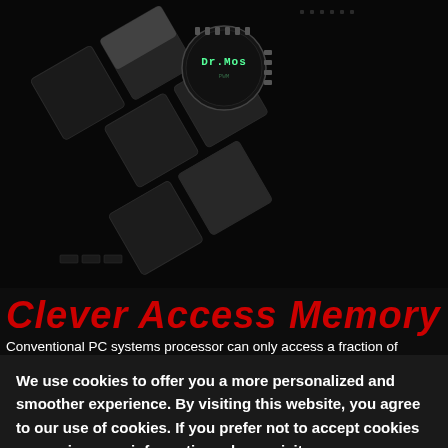[Figure (photo): Dark circuit board background with a circular chip labeled 'Dr.Mos' visible at the top center. Black metallic tiles arranged diagonally on the board.]
Clever Access Memory
Conventional PC systems processor can only access a fraction of graphics memory and limits system performance. With Clever Access Memory, the data channel gets expanded to harness the full potential of GPU memory, resulting in the unlock of the GPU's full performance.
We use cookies to offer you a more personalized and smoother experience. By visiting this website, you agree to our use of cookies. If you prefer not to accept cookies or require more information, please visit our
Privacy Policy.
Accept